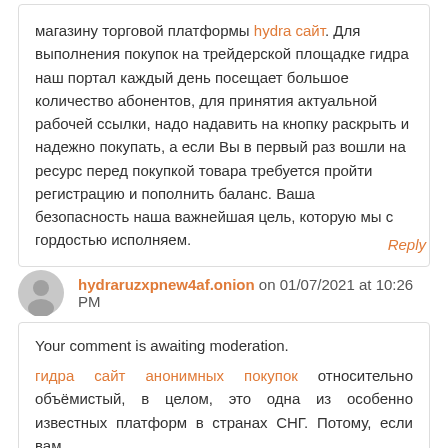магазину торговой платформы hydra сайт. Для выполнения покупок на трейдерской площадке гидра наш портал каждый день посещает большое количество абонентов, для принятия актуальной рабочей ссылки, надо надавить на кнопку раскрыть и надежно покупать, а если Вы в первый раз вошли на ресурс перед покупкой товара требуется пройти регистрацию и пополнить баланс. Ваша безопасность наша важнейшая цель, которую мы с гордостью исполняем.
Reply
hydraruzxpnew4af.onion on 01/07/2021 at 10:26 PM
Your comment is awaiting moderation.
гидра сайт анонимных покупок относительно объёмистый, в целом, это одна из особенно известных платформ в странах СНГ. Потому, если вам